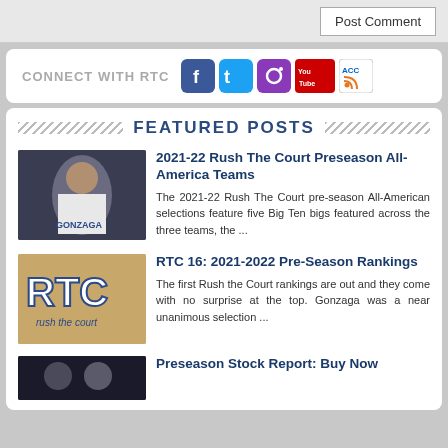Post Comment
CONNECT WITH RTC
FEATURED POSTS
2021-22 Rush The Court Preseason All-America Teams
The 2021-22 Rush The Court pre-season All-American selections feature five Big Ten bigs featured across the three teams, the ...
RTC 16: 2021-2022 Pre-Season Rankings
The first Rush the Court rankings are out and they come with no surprise at the top. Gonzaga was a near unanimous selection ...
Preseason Stock Report: Buy Now